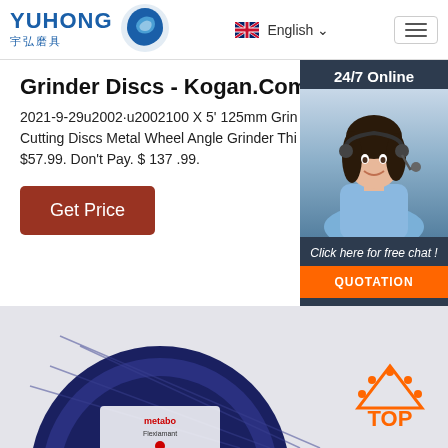YUHONG 宇弘磨具 | English | Menu
Grinder Discs - Kogan.Com
2021-9-29u2002·u2002100 X 5' 125mm Grinder Cutting Discs Metal Wheel Angle Grinder Thi $57.99. Don't Pay. $ 137 .99.
Get Price
24/7 Online
Click here for free chat !
QUOTATION
[Figure (photo): Grinder disc product photo at bottom of page, circular blue disc with label visible]